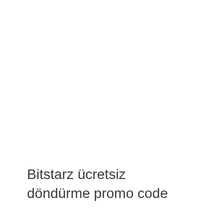Bitstarz ücretsiz döndürme promo code